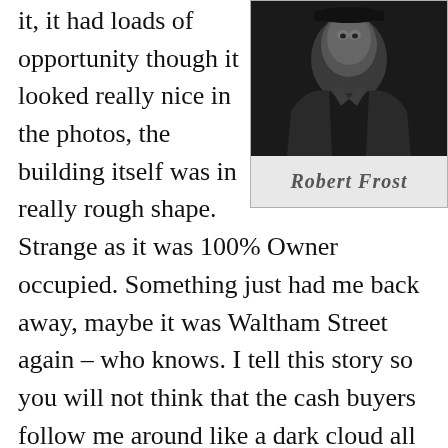it, it had loads of opportunity though it looked really nice in the photos, the building itself was in really rough shape.
[Figure (photo): Black and white photograph of Robert Frost]
Robert Frost
Strange as it was 100% Owner occupied. Something just had me back away, maybe it was Waltham Street again – who knows. I tell this story so you will not think that the cash buyers follow me around like a dark cloud all over town. We've got a storm system developing over Waltham Street again, it's going to start pouring cash… there were times I felt like I was the only one without an umbrella. Not so, there was a frenzy over Upton, bad building aside, and 8 offers rolled in, two cash